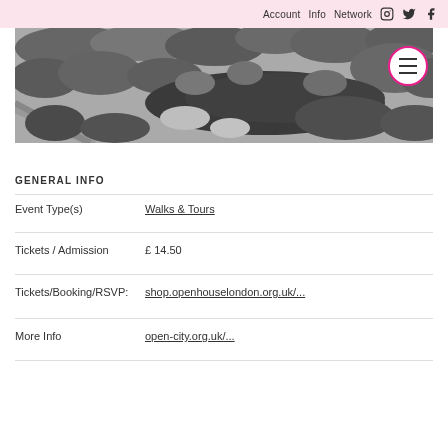Account   Info   Network
[Figure (photo): Aerial black and white photograph of a park with trees, a lake/pond, and pathways]
GENERAL INFO
Event Type(s)    Walks & Tours
Tickets / Admission    £ 14.50
Tickets/Booking/RSVP:    shop.openhouselondon.org.uk/...
More Info    open-city.org.uk/...